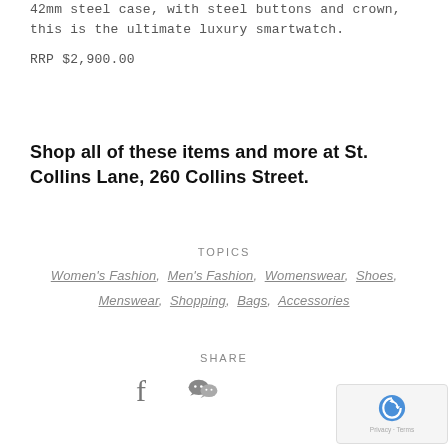42mm steel case, with steel buttons and crown, this is the ultimate luxury smartwatch.
RRP $2,900.00
Shop all of these items and more at St. Collins Lane, 260 Collins Street.
TOPICS
Women's Fashion,  Men's Fashion,  Womenswear,  Shoes,  Menswear,  Shopping,  Bags,  Accessories
SHARE
[Figure (other): Social share icons: Facebook and WeChat]
[Figure (other): reCAPTCHA privacy badge]